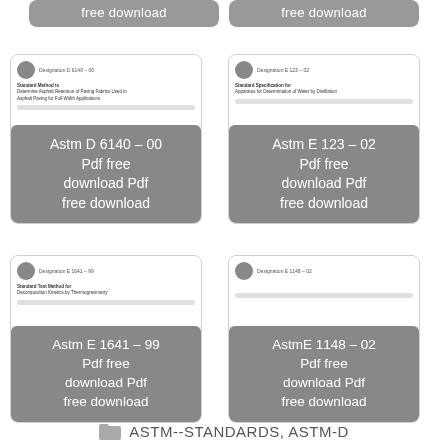[Figure (screenshot): Two gray 'free download' buttons at the top of the page]
[Figure (screenshot): Card for Astm D 6140 - 00 Pdf free download Pdf free download, showing a document preview thumbnail]
[Figure (screenshot): Card for Astm E 123 - 02 Pdf free download Pdf free download, showing a document preview thumbnail]
[Figure (screenshot): Card for Astm E 1641 - 99 Pdf free download Pdf free download, showing a document preview thumbnail]
[Figure (screenshot): Card for AstmE 1148 - 02 Pdf free download Pdf free download, showing a document preview thumbnail]
ASTM--STANDARDS, ASTM-D